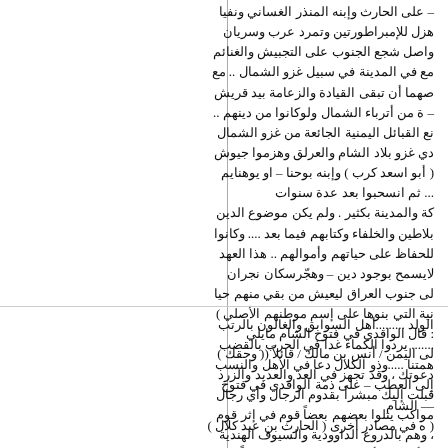– على الحارث وإبنه المنذر الغساني ونفيا هزل للإمبراطورتين وتمرد عرب وسريان واصل شجع الجنوب على التجبيش والغنائم مع في المدينة في سبيل غزو الشمال .. مع صهما أن تبقى القيادة والزعامة بيد قريش – ة من أترباء الشمال ولوكانوا من دينهم .. نع القبائل اليمنية الجائعة من غزو الشمال دي غزو بلاد الشام والعرلق وهزموا جيوش ( أبو اسعد كرب ) وإبنه بوحنا – او يوهنايم ... ثم انسحبوا بعد عدة سنوات كة والمدينة بكثير . ولم يكن موضوع الدين بلاطين والخلفاء وكتابهم فيما بعد .... وكانوا للحفاظ على حياتهم وأموالهم .. هذا العهد لايسمح بوجود دين – وهجّرسكان نجران لى جنوب العراق ليعيش من بقي منهم حيا نية التي بنوها على إسم موطنهم الأصلي ) : قال الواقدي في فتوح الشام مايلي لى اليمن / أنس بن مالك / قائلاً (( وحقك ) دعوتك ، وقد تجهز في العد والعديد والزرد قبلت إليك مبشراً بقدوم الرجال وأي رجال مواكب يتلوا بعضهم بعضاً قوم في إثر قوم ، وهم بالدروع الداوودية والسيوف الهندية ن أبي بكر أ{اد ان يعزّف بقومه شعراً فقال
الولد .........أهل السوابق والغالون بالرتب ....... يردوا الكماء غدا في الحرب بالقضب همتنا .....وذو الكلال دعا في الأهل والنسب إلى العطب – على ذمة الواقدي في فتوح — الشام ( ه في مصادر أخرى ( الحارث بن عبد كلال )